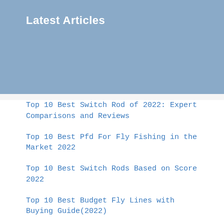Latest Articles
Top 10 Best Switch Rod of 2022: Expert Comparisons and Reviews
Top 10 Best Pfd For Fly Fishing in the Market 2022
Top 10 Best Switch Rods Based on Score 2022
Top 10 Best Budget Fly Lines with Buying Guide(2022)
Top 10 Best Spey Reels Based On User Rating